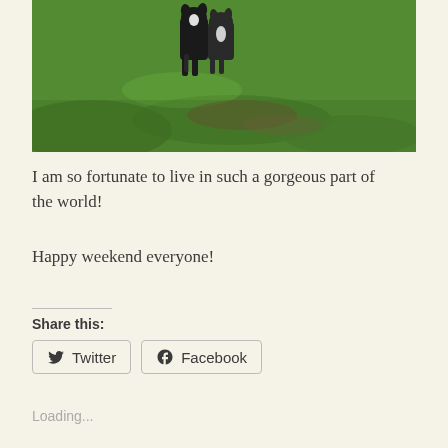[Figure (photo): Two black and white border collie dogs standing on a green grassy field. The dogs are in the upper-center portion of the photo against a lush green grass background.]
I am so fortunate to live in such a gorgeous part of the world!
Happy weekend everyone!
Share this:
Twitter   Facebook
Loading...